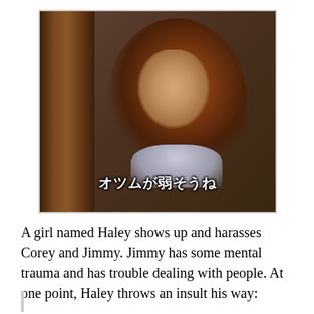[Figure (screenshot): A film screenshot of a young girl with long reddish-brown hair, looking slightly upward. She is partially obscured by a wooden pillar/post on the left side. Japanese subtitles at the bottom read: オツムが弱そうね]
A girl named Haley shows up and harasses Corey and Jimmy. Jimmy has some mental trauma and has trouble dealing with people. At one point, Haley throws an insult his way: